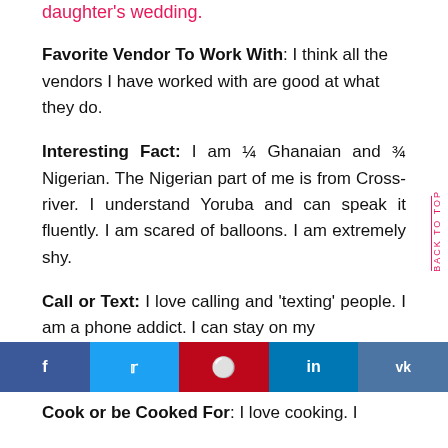daughter's wedding.
Favorite Vendor To Work With: I think all the vendors I have worked with are good at what they do.
Interesting Fact: I am ¼ Ghanaian and ¾ Nigerian. The Nigerian part of me is from Cross-river. I understand Yoruba and can speak it fluently. I am scared of balloons. I am extremely shy.
Call or Text: I love calling and 'texting' people. I am a phone addict. I can stay on my
[Figure (other): Social media share buttons: Facebook (blue), Twitter (light blue), Pinterest (red), LinkedIn (blue), VK (steel blue)]
Cook or be Cooked For: I love cooking. I